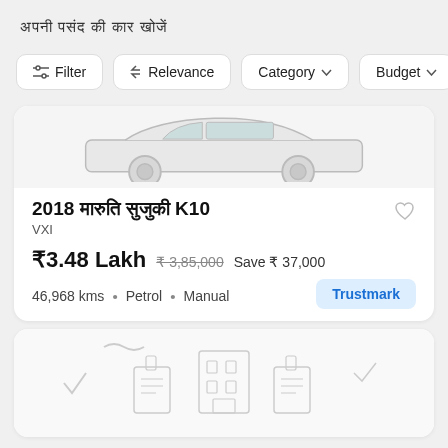अपनी पसंद की कार खोजें
Filter | Relevance | Category | Budget
[Figure (screenshot): Car listing card showing partial car image at top]
2018 मारुति सुजुकी K10
VXI
₹3.48 Lakh ₹3,85,000 Save ₹37,000
46,968 kms • Petrol • Manual
Trustmark
[Figure (illustration): Second car listing card showing outline illustration of documents/buildings]